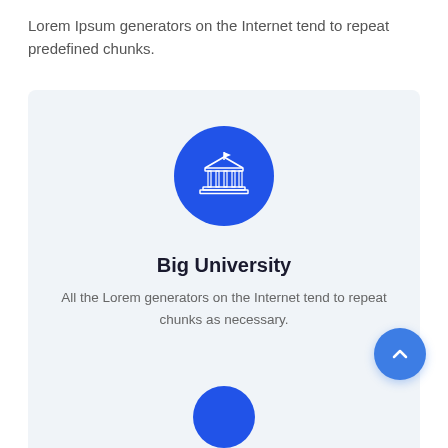Lorem Ipsum generators on the Internet tend to repeat predefined chunks.
[Figure (illustration): A card with a blue circle containing a white university/building icon, title 'Big University', and descriptive text below on a light blue-grey background.]
Big University
All the Lorem generators on the Internet tend to repeat chunks as necessary.